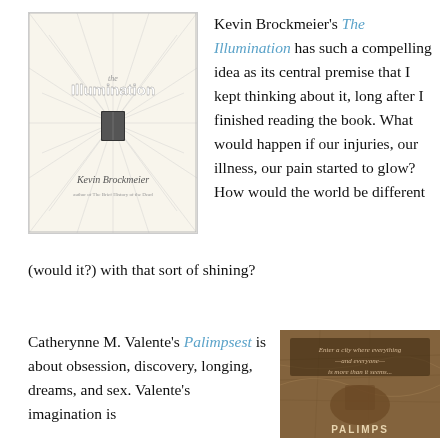[Figure (illustration): Book cover of 'The Illumination' by Kevin Brockmeier. Cream/white background with radiating lines from center, small dark book image in middle. Title in white bold text, author name in italic below.]
Kevin Brockmeier's The Illumination has such a compelling idea as its central premise that I kept thinking about it, long after I finished reading the book. What would happen if our injuries, our illness, our pain started to glow? How would the world be different (would it?) with that sort of shining?
Catherynne M. Valente's Palimpsest is about obsession, discovery, longing, dreams, and sex. Valente's imagination is
[Figure (photo): Book cover of 'Palimpsest' by Catherynne M. Valente. Dark brown/sepia toned cover with map-like imagery and text 'Enter a city where everything — and everyone — is more than it seems...']